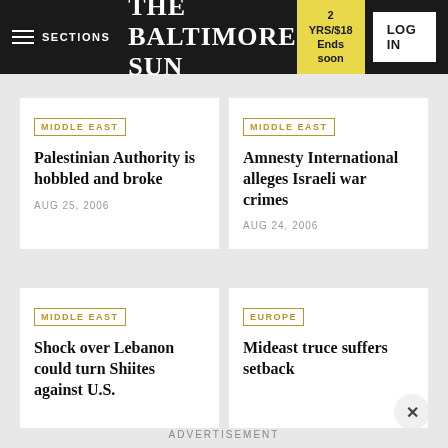SECTIONS | THE BALTIMORE SUN | 2 YRS/$18 Ends soon | LOG IN
MIDDLE EAST
Palestinian Authority is hobbled and broke
AUG 25, 2006
MIDDLE EAST
Amnesty International alleges Israeli war crimes
AUG 24, 2006
MIDDLE EAST
Shock over Lebanon could turn Shiites against U.S.
EUROPE
Mideast truce suffers setback
ADVERTISEMENT